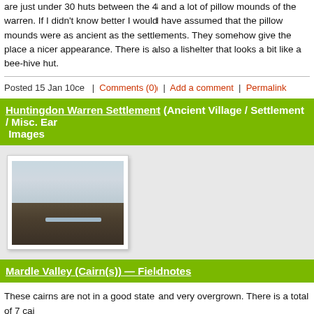are just under 30 huts between the 4 and a lot of pillow mounds of the warren. If I didn't know better I would have assumed that the pillow mounds were as ancient as the settlements. They somehow give the place a nicer appearance. There is also a little shelter that looks a bit like a bee-hive hut.
Posted 15 Jan 10ce  |  Comments (0)  |  Add a comment  |  Permalink
Huntingdon Warren Settlement (Ancient Village / Settlement / Misc. Ear... Images
[Figure (photo): Landscape photo showing moorland with overcast sky and a distant water feature]
Mardle Valley (Cairn(s)) — Fieldnotes
These cairns are not in a good state and very overgrown. There is a total of 7 cai... few huts around. The biggest cairn(picture) is about 16m in diameter, the others a... smaller.